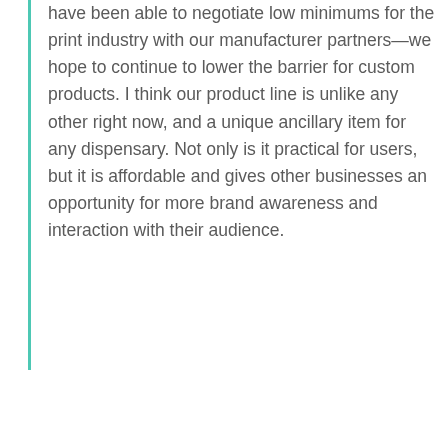have been able to negotiate low minimums for the print industry with our manufacturer partners—we hope to continue to lower the barrier for custom products. I think our product line is unlike any other right now, and a unique ancillary item for any dispensary. Not only is it practical for users, but it is affordable and gives other businesses an opportunity for more brand awareness and interaction with their audience.